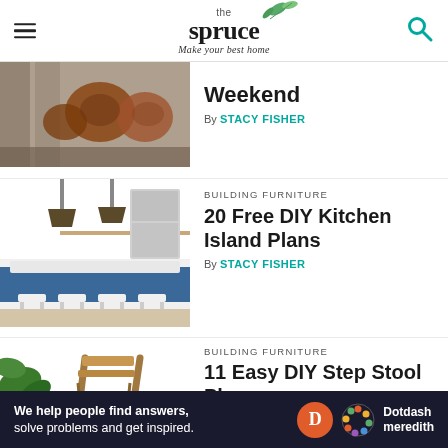the spruce — Make your best home
[Figure (photo): Partial article card with chickens/farm image, title 'Weekend']
Weekend
By STACY FISHER
[Figure (photo): Kitchen with blue island, pendant lights, stools]
BUILDING FURNITURE
20 Free DIY Kitchen Island Plans
By STACY FISHER
[Figure (photo): Step stool / ladder leaning against white wall with plant]
BUILDING FURNITURE
11 Easy DIY Step Stool Plans
By STACY FISHER
Ad
We help people find answers, solve problems and get inspired. Dotdash meredith